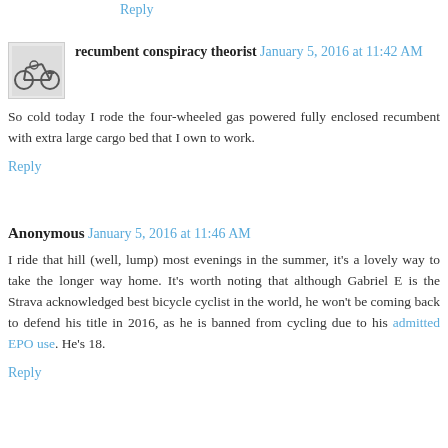Reply
recumbent conspiracy theorist  January 5, 2016 at 11:42 AM
So cold today I rode the four-wheeled gas powered fully enclosed recumbent with extra large cargo bed that I own to work.
Reply
Anonymous  January 5, 2016 at 11:46 AM
I ride that hill (well, lump) most evenings in the summer, it's a lovely way to take the longer way home. It's worth noting that although Gabriel E is the Strava acknowledged best bicycle cyclist in the world, he won't be coming back to defend his title in 2016, as he is banned from cycling due to his admitted EPO use. He's 18.
Reply